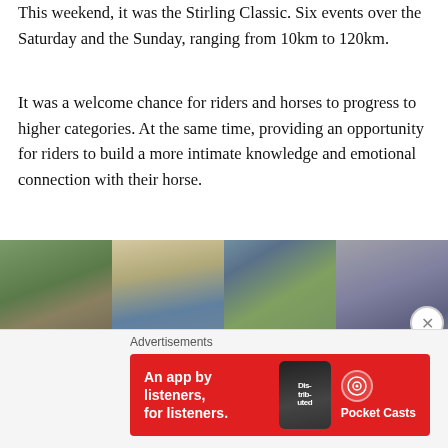This weekend, it was the Stirling Classic. Six events over the Saturday and the Sunday, ranging from 10km to 120km.
It was a welcome chance for riders and horses to progress to higher categories. At the same time, providing an opportunity for riders to build a more intimate knowledge and emotional connection with their horse.
[Figure (photo): Four photos showing horse riding events and people: a rider on horseback on a path; two smiling women posing together outdoors; a person crouching in a field; a person with a horse wearing a helmet.]
The challenge is for the rider to establish an effective use
Advertisements
[Figure (photo): Advertisement banner for Pocket Casts app. Red background with white text reading 'An app by listeners, for listeners.' with a phone graphic showing 'Distributed' text and the Pocket Casts logo.]